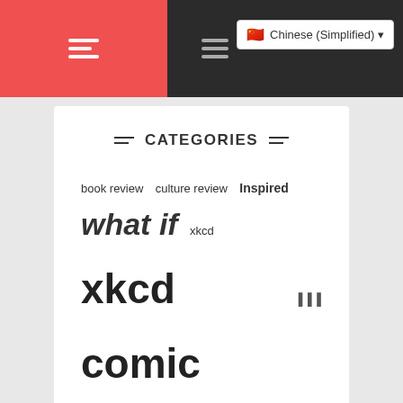Navigation bar with hamburger menus and Chinese (Simplified) language selector
CATEGORIES
book review  culture review  Inspired  what if  xkcd  xkcd comic
RECENT POSTS
[2654] Chemtrails
[2653] Omnitaur